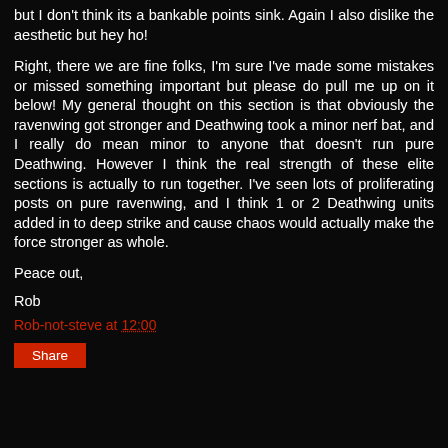but I don't think its a bankable points sink. Again I also dislike the aesthetic but hey ho!
Right, there we are fine folks, I'm sure I've made some mistakes or missed something important but please do pull me up on it below! My general thought on this section is that obviously the ravenwing got stronger and Deathwing took a minor nerf bat, and I really do mean minor to anyone that doesn't run pure Deathwing. However I think the real strength of these elite sections is actually to run together. I've seen lots of proliferating posts on pure ravenwing, and I think 1 or 2 Deathwing units added in to deep strike and cause chaos would actually make the force stronger as whole.
Peace out,
Rob
Rob-not-steve at 12:00
Share